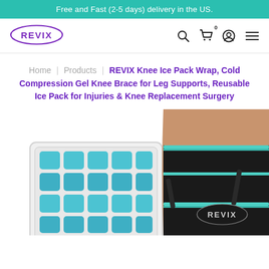Free and Fast (2-5 days) delivery in the US.
[Figure (logo): REVIX brand logo in purple oval outline]
Home | Products | REVIX Knee Ice Pack Wrap, Cold Compression Gel Knee Brace for Leg Supports, Reusable Ice Pack for Injuries & Knee Replacement Surgery
[Figure (photo): Product photo showing a blue gel ice pack tray on the left and a black knee compression brace with teal/turquoise trim worn on a leg on the right, both branded REVIX]